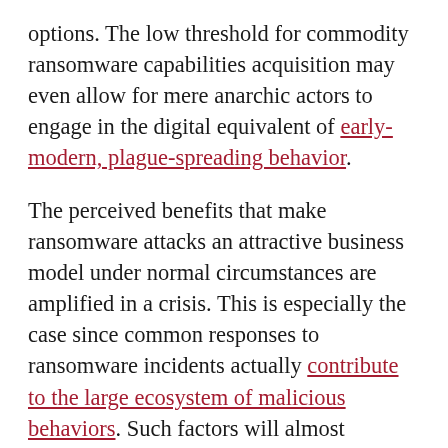options. The low threshold for commodity ransomware capabilities acquisition may even allow for mere anarchic actors to engage in the digital equivalent of early-modern, plague-spreading behavior. The perceived benefits that make ransomware attacks an attractive business model under normal circumstances are amplified in a crisis. This is especially the case since common responses to ransomware incidents actually contribute to the large ecosystem of malicious behaviors. Such factors will almost certainly accelerate under current pressures.